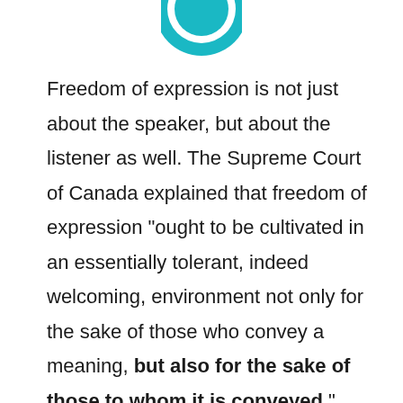[Figure (logo): Teal/cyan circular chat bubble or speech icon, partially cropped at top of page]
Freedom of expression is not just about the speaker, but about the listener as well. The Supreme Court of Canada explained that freedom of expression “ought to be cultivated in an essentially tolerant, indeed welcoming, environment not only for the sake of those who convey a meaning, but also for the sake of those to whom it is conveyed.” This should be intuitive: the freedom to speak your beliefs